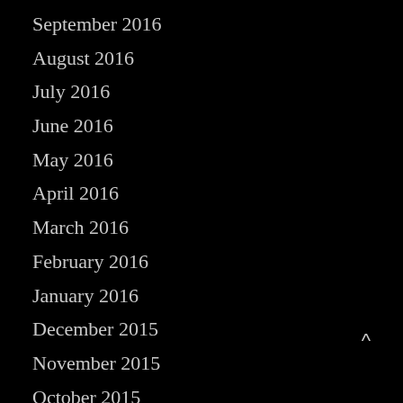September 2016
August 2016
July 2016
June 2016
May 2016
April 2016
March 2016
February 2016
January 2016
December 2015
November 2015
October 2015
September 2015
August 2015
July 2015
June 2015